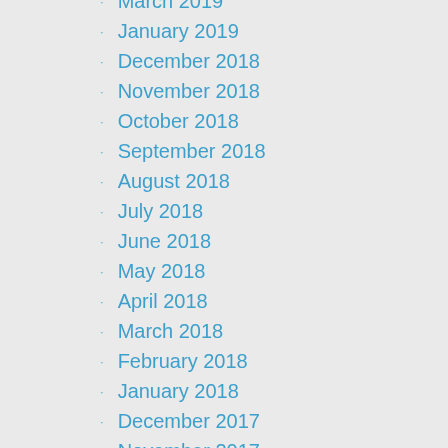March 2019
January 2019
December 2018
November 2018
October 2018
September 2018
August 2018
July 2018
June 2018
May 2018
April 2018
March 2018
February 2018
January 2018
December 2017
November 2017
October 2017
September 2017
August 2017